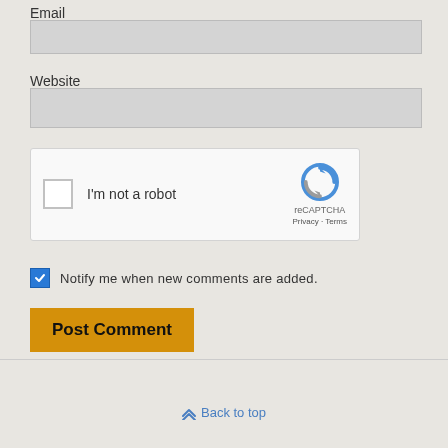Email
[Figure (screenshot): Empty email input field (gray background)]
Website
[Figure (screenshot): Empty website input field (gray background)]
[Figure (screenshot): reCAPTCHA widget with checkbox and 'I'm not a robot' label]
Notify me when new comments are added.
Post Comment
Back to top